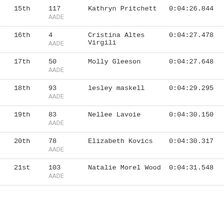| Place | Bib | Name | Time |
| --- | --- | --- | --- |
| 15th | 117
AADE | Kathryn Pritchett | 0:04:26.844 |
| 16th | 4
AADE | Cristina Altes Virgili | 0:04:27.478 |
| 17th | 50
AADE | Molly Gleeson | 0:04:27.648 |
| 18th | 93
AADE | lesley maskell | 0:04:29.295 |
| 19th | 83
AADE | Nellee Lavoie | 0:04:30.150 |
| 20th | 78
AADE | Elizabeth Kovics | 0:04:30.317 |
| 21st | 103
AADE | Natalie Morel Wood | 0:04:31.548 |